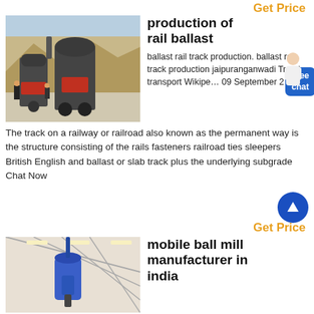Get Price
[Figure (photo): Industrial grinding mill machines (grey with red accents) parked near a rocky quarry wall with workers standing nearby.]
production of rail ballast
ballast rail track production. ballast rail track production jaipuranganwadi Track rail transport Wikipedia 09 September 2...
The track on a railway or railroad also known as the permanent way is the structure consisting of the rails fasteners railroad ties sleepers British English and ballast or slab track plus the underlying subgrade Chat Now
Get Price
[Figure (photo): Interior of an industrial facility with a blue ball mill machine under a metal roof structure with bright lighting.]
mobile ball mill manufacturer in india